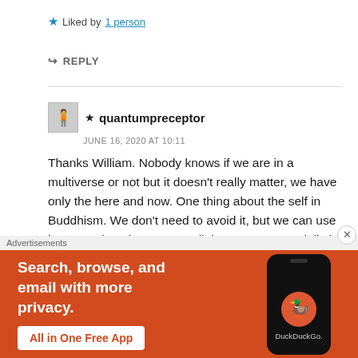★ Liked by 1 person
↪ REPLY
★ quantumpreceptor
JUNE 16, 2020 AT 10:11
Thanks William. Nobody knows if we are in a multiverse or not but it doesn't really matter, we have only the here and now. One thing about the self in Buddhism. We don't need to avoid it, but we can use it as a tool on the way to enlightenment. Especially in the beginning of one's practice the ego can be used a…
Advertisements
[Figure (screenshot): DuckDuckGo advertisement banner with orange background. Text reads 'Search, browse, and email with more privacy. All in One Free App' with DuckDuckGo logo on a phone mockup.]